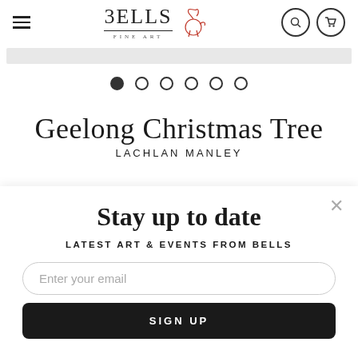[Figure (screenshot): Bells Fine Art website header with hamburger menu icon, BELLS FINE ART logo with rooster icon (Makeart Girls Certified Art Studio), search icon, and cart icon]
[Figure (other): Gray slider bar placeholder and carousel navigation dots (6 dots, first filled)]
Geelong Christmas Tree
LACHLAN MANLEY
Stay up to date
LATEST ART & EVENTS FROM BELLS
Enter your email
SIGN UP